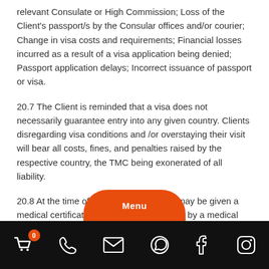relevant Consulate or High Commission; Loss of the Client's passport/s by the Consular offices and/or courier; Change in visa costs and requirements; Financial losses incurred as a result of a visa application being denied; Passport application delays; Incorrect issuance of passport or visa.
20.7 The Client is reminded that a visa does not necessarily guarantee entry into any given country. Clients disregarding visa conditions and /or overstaying their visit will bear all costs, fines, and penalties raised by the respective country, the TMC being exonerated of all liability.
20.8 At the time of booking, passengers may be given a medical certificate that must be completed by a medical practitioner and returned with the booking form. Passengers aged 70 years and over with pre-existing health
[Figure (screenshot): Mobile navigation bar with cart icon (badge showing 0), phone icon, email icon, WhatsApp icon, Facebook icon, Instagram icon on black background. An orange semi-circular Menu button appears above the bar.]